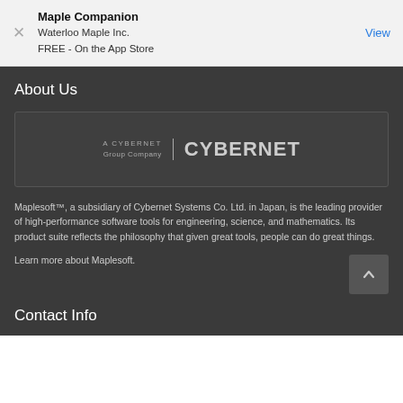Maple Companion
Waterloo Maple Inc.
FREE - On the App Store
View
About Us
[Figure (logo): A CYBERNET Group Company | CYBERNET logo on dark background]
Maplesoft™, a subsidiary of Cybernet Systems Co. Ltd. in Japan, is the leading provider of high-performance software tools for engineering, science, and mathematics. Its product suite reflects the philosophy that given great tools, people can do great things.
Learn more about Maplesoft.
Contact Info